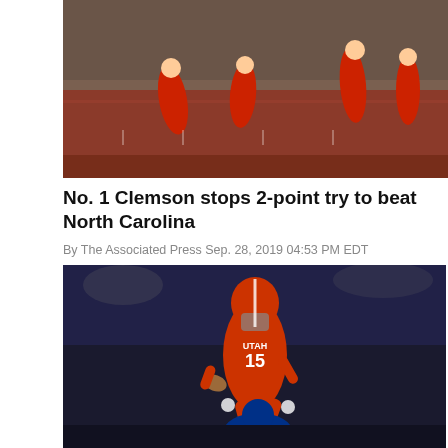[Figure (photo): Football players on a red field, with players in red and white uniforms running near the end zone]
No. 1 Clemson stops 2-point try to beat North Carolina
By The Associated Press Sep. 28, 2019 04:53 PM EDT
[Figure (photo): Utah Utes football player number 15 in orange uniform leaping over a Duke defender in blue uniform during a night game]